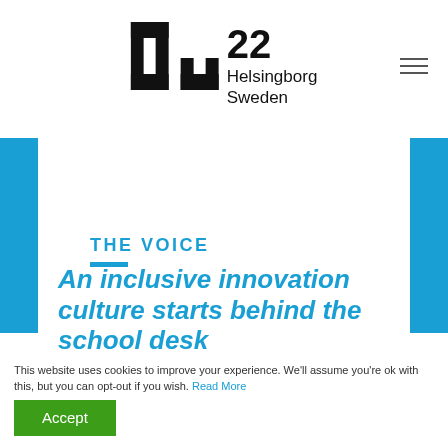[Figure (logo): H22 Helsingborg Sweden logo with stylized H graphic mark and 22 numeral]
THE VOICE
An inclusive innovation culture starts behind the school desk
This website uses cookies to improve your experience. We'll assume you're ok with this, but you can opt-out if you wish. Read More
Accept